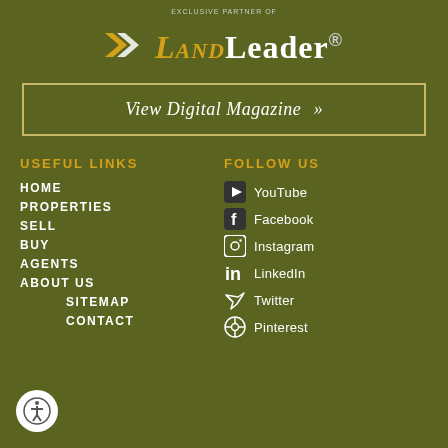Exclusive Partner Of
[Figure (logo): LandLeader logo with double arrow chevron icon in white/gold, text LAND in gold and LEADER in white]
View Digital Magazine »
USEFUL LINKS
HOME
PROPERTIES
SELL
BUY
AGENTS
ABOUT US
SITEMAP
CONTACT
FOLLOW US
YouTube
Facebook
Instagram
LinkedIn
Twitter
Pinterest